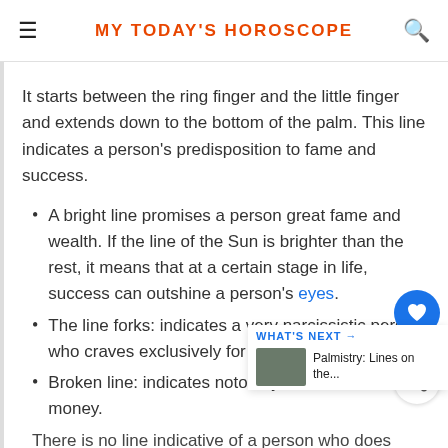MY TODAY'S HOROSCOPE
It starts between the ring finger and the little finger and extends down to the bottom of the palm. This line indicates a person's predisposition to fame and success.
A bright line promises a person great fame and wealth. If the line of the Sun is brighter than the rest, it means that at a certain stage in life, success can outshine a person's eyes.
The line forks: indicates a very narcissistic person who craves exclusively for fame and money.
Broken line: indicates notoriety or dishonestly earned money.
There is no line indicative of a person who does